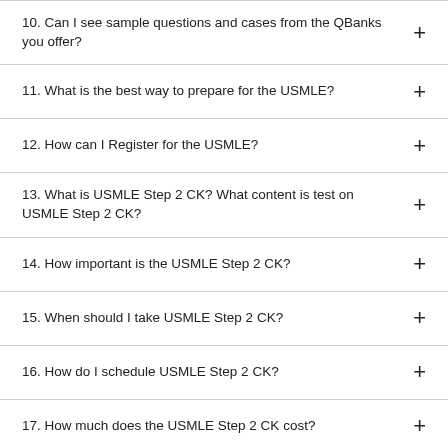10. Can I see sample questions and cases from the QBanks you offer?
11. What is the best way to prepare for the USMLE?
12. How can I Register for the USMLE?
13. What is USMLE Step 2 CK? What content is test on USMLE Step 2 CK?
14. How important is the USMLE Step 2 CK?
15. When should I take USMLE Step 2 CK?
16. How do I schedule USMLE Step 2 CK?
17. How much does the USMLE Step 2 CK cost?